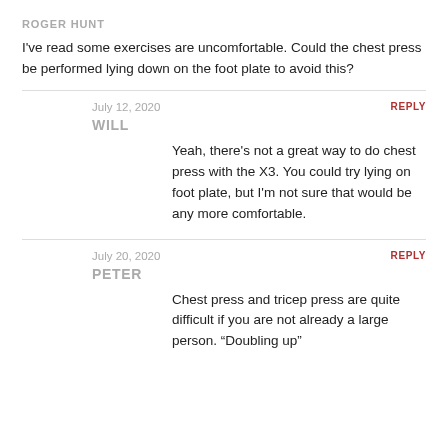ROGER HUNT
I've read some exercises are uncomfortable. Could the chest press be performed lying down on the foot plate to avoid this?
July 12, 2020
REPLY
WILL
Yeah, there's not a great way to do chest press with the X3. You could try lying on foot plate, but I'm not sure that would be any more comfortable.
July 20, 2020
REPLY
PETER
Chest press and tricep press are quite difficult if you are not already a large person. “Doubling up”